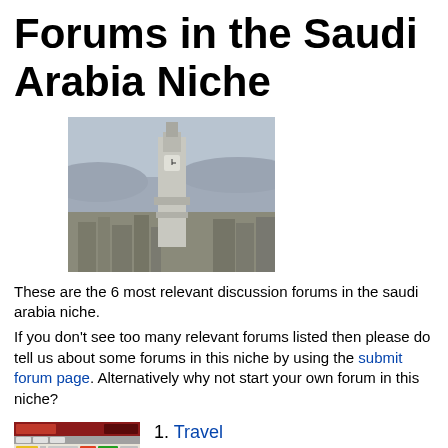Forums in the Saudi Arabia Niche
[Figure (photo): Aerial photo of Mecca cityscape with the Abraj Al-Bait clock tower prominent in the center]
These are the 6 most relevant discussion forums in the saudi arabia niche.
If you don't see too many relevant forums listed then please do tell us about some forums in this niche by using the submit forum page. Alternatively why not start your own forum in this niche?
[Figure (screenshot): Thumbnail screenshot of the Tourism Zone forum website (http://www.tourismzone.com/)]
1. Travel
Forum has 23,359 posts.
http://www.tourismzone.com/